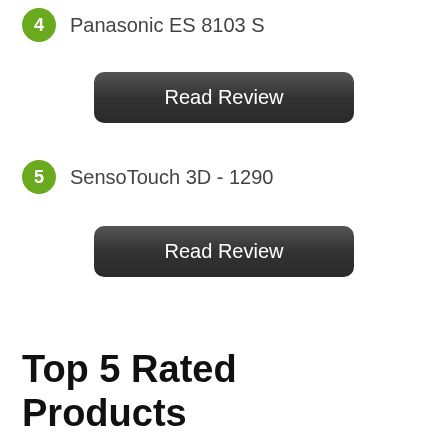4  Panasonic ES 8103 S
Read Review
5  SensoTouch 3D - 1290
Read Review
Top 5 Rated Products